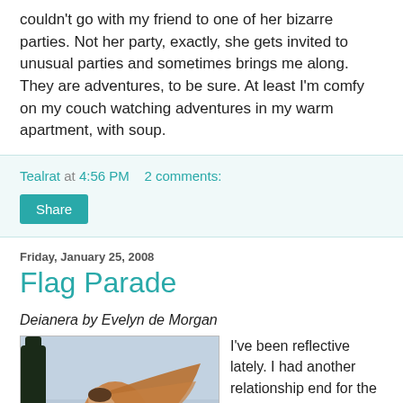couldn't go with my friend to one of her bizarre parties. Not her party, exactly, she gets invited to unusual parties and sometimes brings me along. They are adventures, to be sure. At least I'm comfy on my couch watching adventures in my warm apartment, with soup.
Tealrat at 4:56 PM    2 comments:
Share
Friday, January 25, 2008
Flag Parade
Deianera by Evelyn de Morgan
[Figure (photo): A painting of a woman in flowing robes bending forward, with trees in the background — Deianera by Evelyn de Morgan]
I've been reflective lately. I had another relationship end for the same reason they usually do, I got sick of being treated disrespectfully. He was well behaved in the beginning, and I really